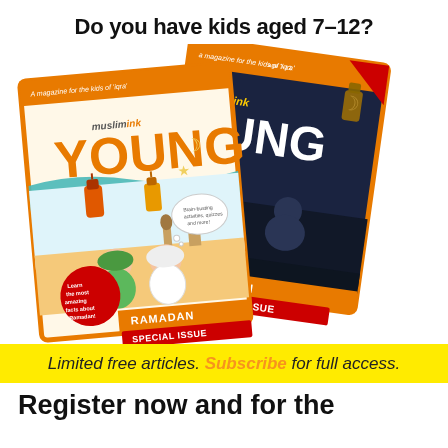Do you have kids aged 7–12?
[Figure (illustration): Two Muslim Ink Young magazine covers (Ramadan Special Issue editions) — one with a light, colorful Ramadan-themed cover showing cartoon children, lanterns, and mosques, and one with a dark night-sky themed Ramadan cover — arranged overlapping at an angle on a white background.]
Limited free articles. Subscribe for full access.
Register now and for the